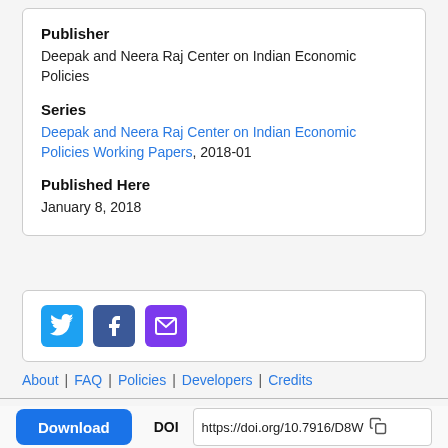Publisher
Deepak and Neera Raj Center on Indian Economic Policies
Series
Deepak and Neera Raj Center on Indian Economic Policies Working Papers, 2018-01
Published Here
January 8, 2018
[Figure (other): Social sharing icons: Twitter (blue bird), Facebook (blue f), Email (purple envelope)]
About | FAQ | Policies | Developers | Credits
Download   DOI https://doi.org/10.7916/D8W